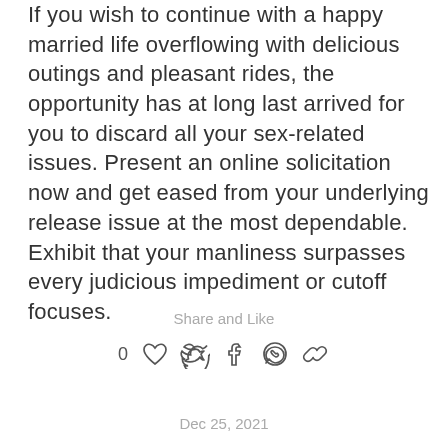If you wish to continue with a happy married life overflowing with delicious outings and pleasant rides, the opportunity has at long last arrived for you to discard all your sex-related issues. Present an online solicitation now and get eased from your underlying release issue at the most dependable. Exhibit that your manliness surpasses every judicious impediment or cutoff focuses.
Share and Like
0
Dec 25, 2021